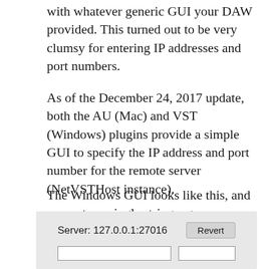with whatever generic GUI your DAW provided. This turned out to be very clumsy for entering IP addresses and port numbers.
As of the December 24, 2017 update, both the AU (Mac) and VST (Windows) plugins provide a simple GUI to specify the IP address and port number for the remote server (NetVSTHost instance).
The Windows GUI looks like this, and you enter a single string e.g. 192.168.1.100:27016, then hit Update.
[Figure (screenshot): Windows GUI screenshot showing a server field with value 127.0.0.1:27016 and a Revert button, with an input row below.]